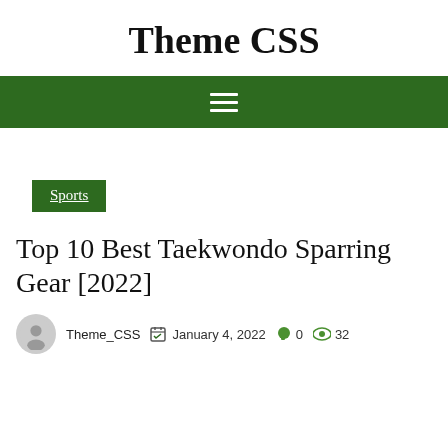Theme CSS
[Figure (other): Green navigation bar with hamburger menu icon (three horizontal white lines)]
Sports
Top 10 Best Taekwondo Sparring Gear [2022]
Theme_CSS  January 4, 2022  0  32